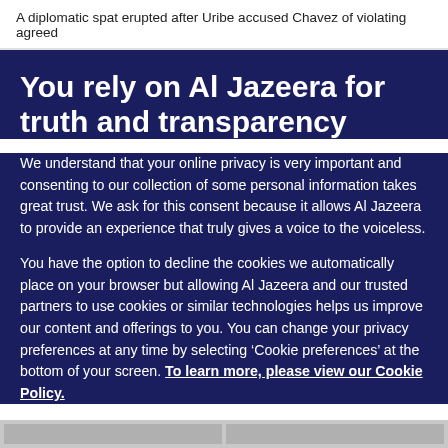A diplomatic spat erupted after Uribe accused Chavez of violating agreed
You rely on Al Jazeera for truth and transparency
We understand that your online privacy is very important and consenting to our collection of some personal information takes great trust. We ask for this consent because it allows Al Jazeera to provide an experience that truly gives a voice to the voiceless.
You have the option to decline the cookies we automatically place on your browser but allowing Al Jazeera and our trusted partners to use cookies or similar technologies helps us improve our content and offerings to you. You can change your privacy preferences at any time by selecting ‘Cookie preferences’ at the bottom of your screen. To learn more, please view our Cookie Policy.